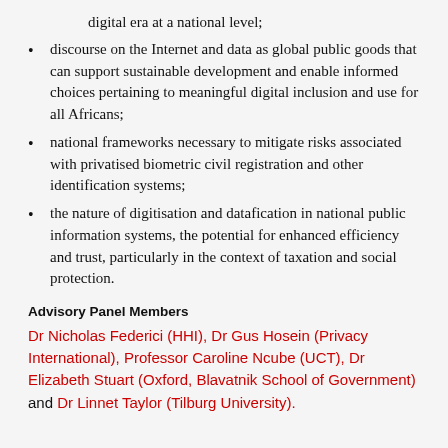digital era at a national level;
discourse on the Internet and data as global public goods that can support sustainable development and enable informed choices pertaining to meaningful digital inclusion and use for all Africans;
national frameworks necessary to mitigate risks associated with privatised biometric civil registration and other identification systems;
the nature of digitisation and datafication in national public information systems, the potential for enhanced efficiency and trust, particularly in the context of taxation and social protection.
Advisory Panel Members
Dr Nicholas Federici (HHI), Dr Gus Hosein (Privacy International), Professor Caroline Ncube (UCT), Dr Elizabeth Stuart (Oxford, Blavatnik School of Government) and Dr Linnet Taylor (Tilburg University).